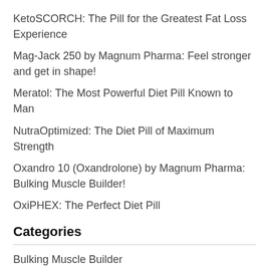KetoSCORCH: The Pill for the Greatest Fat Loss Experience
Mag-Jack 250 by Magnum Pharma: Feel stronger and get in shape!
Meratol: The Most Powerful Diet Pill Known to Man
NutraOptimized: The Diet Pill of Maximum Strength
Oxandro 10 (Oxandrolone) by Magnum Pharma: Bulking Muscle Builder!
OxiPHEX: The Perfect Diet Pill
Categories
Bulking Muscle Builder